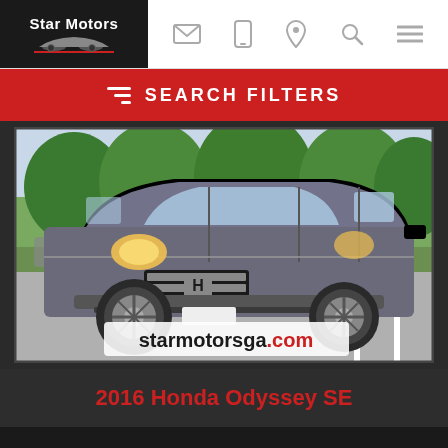Star Motors
[Figure (photo): Gray 2016 Honda Odyssey SE minivan parked in a lot, front three-quarter view, trees in background, starmotorsga.com watermark overlay]
2016 Honda Odyssey SE